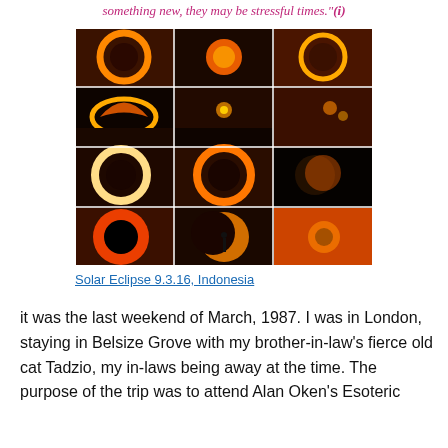something new, they may be stressful times."(i)
[Figure (photo): A 4x3 grid collage of solar eclipse photographs, showing various phases of annular and partial solar eclipses against orange and dark skies. Images include ring of fire eclipses, crescent shapes, and a black hole sun silhouette.]
Solar Eclipse 9.3.16, Indonesia
it was the last weekend of March, 1987. I was in London, staying in Belsize Grove with my brother-in-law's fierce old cat Tadzio, my in-laws being away at the time. The purpose of the trip was to attend Alan Oken's Esoteric